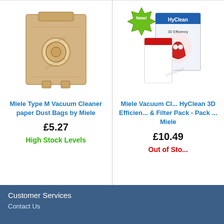[Figure (photo): Miele Type M vacuum cleaner paper dust bags - tan/brown paper bags]
Miele Type M Vacuum Cleaner paper Dust Bags by Miele
£5.27
High Stock Levels
[Figure (photo): Miele HyClean 3D Efficiency vacuum cleaner bags and filter pack in box with New! badge]
Miele Vacuum Cl... HyClean 3D Efficien... & Filter Pack - Pack ... Miele
£10.49
Out of Stock
Customer Services
Contact Us